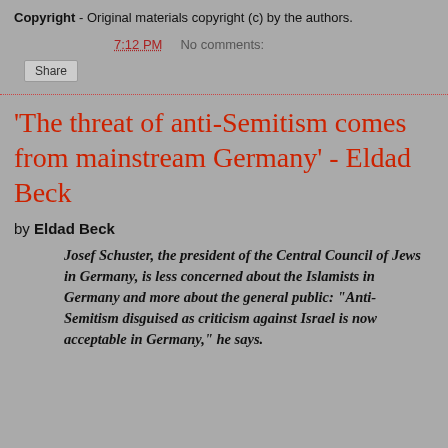Copyright - Original materials copyright (c) by the authors.
7:12 PM   No comments:
Share
'The threat of anti-Semitism comes from mainstream Germany' - Eldad Beck
by Eldad Beck
Josef Schuster, the president of the Central Council of Jews in Germany, is less concerned about the Islamists in Germany and more about the general public: "Anti-Semitism disguised as criticism against Israel is now acceptable in Germany," he says.